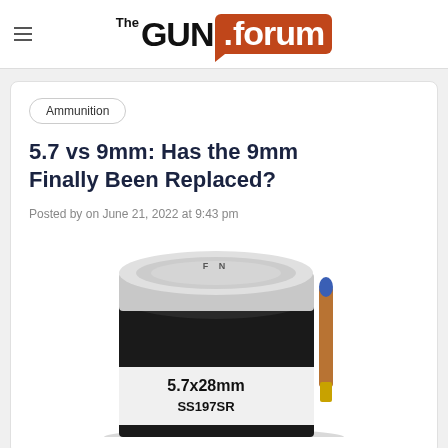[Figure (logo): The GUN.forum logo — bold black GUN text with orange-red rounded rectangle containing white .forum text]
Ammunition
5.7 vs 9mm: Has the 9mm Finally Been Replaced?
Posted by on June 21, 2022 at 9:43 pm
[Figure (photo): Photo of a box of 5.7x28mm SS197SR ammunition, showing a cylindrical black container with silver/white lid and a partial view of a bullet on the right side]